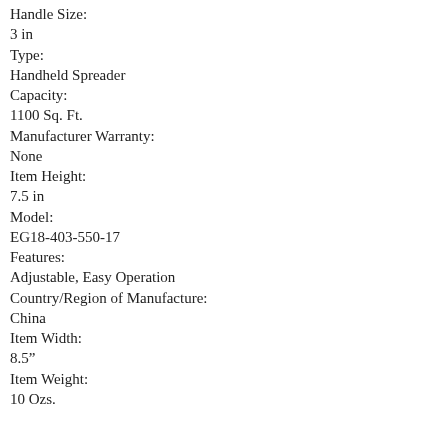Handle Size:
3 in
Type:
Handheld Spreader
Capacity:
1100 Sq. Ft.
Manufacturer Warranty:
None
Item Height:
7.5 in
Model:
EG18-403-550-17
Features:
Adjustable, Easy Operation
Country/Region of Manufacture:
China
Item Width:
8.5"
Item Weight:
10 Ozs.